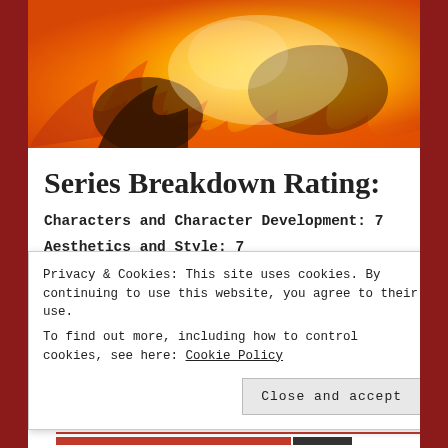[Figure (illustration): Animated fire/flame scene with orange and yellow tones, showing a dramatic fiery background with shadowed figures]
Series Breakdown Rating:
Characters and Character Development: 7
Aesthetics and Style: 7
Creativity: 7
Overall Pl... (partially visible, cut off by cookie banner)
Privacy & Cookies: This site uses cookies. By continuing to use this website, you agree to their use. To find out more, including how to control cookies, see here: Cookie Policy
Close and accept